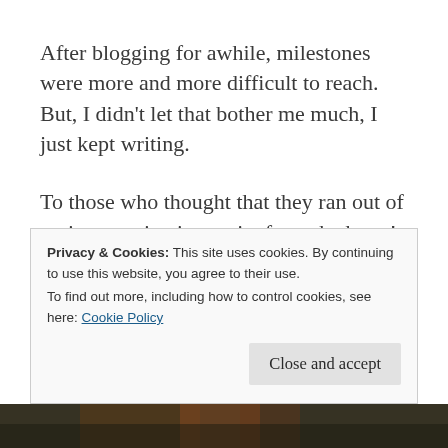After blogging for awhile, milestones were more and more difficult to reach. But, I didn't let that bother me much, I just kept writing.
To those who thought that they ran out of topics to write, just write from the heart! If I had to scrutinize every single topic before writing, I honestly doubt that I would have anything posted.
Privacy & Cookies: This site uses cookies. By continuing to use this website, you agree to their use.
To find out more, including how to control cookies, see here: Cookie Policy
Close and accept
[Figure (photo): Bottom strip showing a partial photo of a person with reddish hair against a dark background]